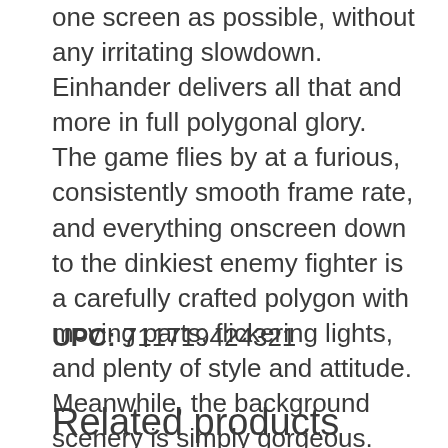one screen as possible, without any irritating slowdown. Einhander delivers all that and more in full polygonal glory. The game flies by at a furious, consistently smooth frame rate, and everything onscreen down to the dinkiest enemy fighter is a carefully crafted polygon with moving parts, flickering lights, and plenty of style and attitude. Meanwhile, the background scenery is simply gorgeous. Countless levels of scrolling, complete with colored lighting and other impressive effects, make such settings as a futuristic downtown and a watery robotics facility really look alive. There's atten
UPC: 711719424321
Related products